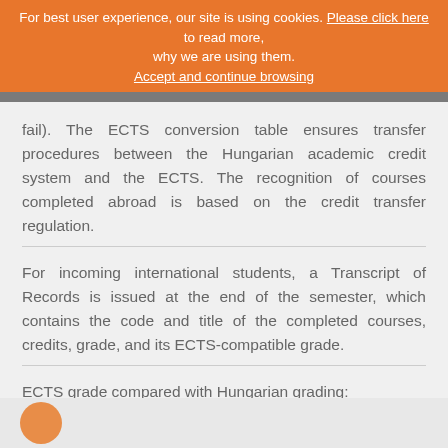For best user experience, our site is using cookies. Please click here to read more, why we are using them. Accept and continue browsing
fail). The ECTS conversion table ensures transfer procedures between the Hungarian academic credit system and the ECTS. The recognition of courses completed abroad is based on the credit transfer regulation.
For incoming international students, a Transcript of Records is issued at the end of the semester, which contains the code and title of the completed courses, credits, grade, and its ECTS-compatible grade.
ECTS grade compared with Hungarian grading: